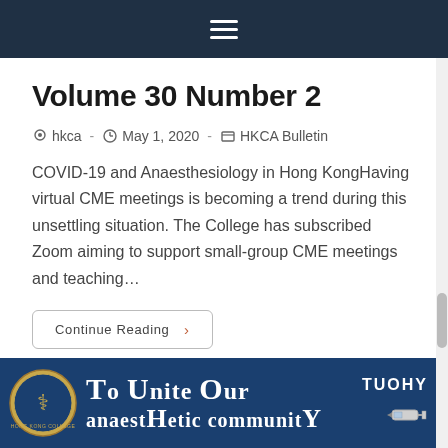Navigation menu
Volume 30 Number 2
hkca  ·  May 1, 2020  ·  HKCA Bulletin
COVID-19 and Anaesthesiology in Hong KongHaving virtual CME meetings is becoming a trend during this unsettling situation. The College has subscribed Zoom aiming to support small-group CME meetings and teaching…
Continue Reading ›
[Figure (illustration): HKCA banner with logo and text 'To Unite Our anaestHetic community' with TUOHY label and syringe illustration on dark blue background]